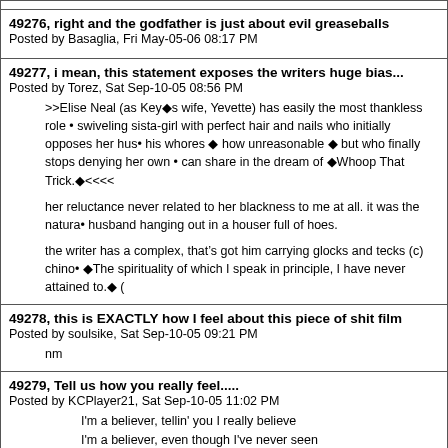49276, right and the godfather is just about evil greaseballs
Posted by Basaglia, Fri May-05-06 08:17 PM
49277, i mean, this statement exposes the writers huge bias...
Posted by Torez, Sat Sep-10-05 08:56 PM
>>Elise Neal (as Key◆s wife, Yevette) has easily the most thankless role • swiveling sista-girl with perfect hair and nails who initially opposes her hus• his whores ◆ how unreasonable ◆ but who finally stops denying her own • can share in the dream of ◆Whoop That Trick.◆<<<<
her reluctance never related to her blackness to me at all. it was the natura• husband hanging out in a houser full of hoes.
the writer has a complex, that's got him carrying glocks and tecks (c) chino• ◆The spirituality of which I speak in principle, I have never attained to.◆ (
49278, this is EXACTLY how I feel about this piece of shit film
Posted by soulsike, Sat Sep-10-05 09:21 PM
nm
49279, Tell us how you really feel.....
Posted by KCPlayer21, Sat Sep-10-05 11:02 PM
I'm a believer, tellin' you I really believe
I'm a believer, even though I've never seen
I'm a believer, look at my life and you will see
I'm a believer, how can you not believe?